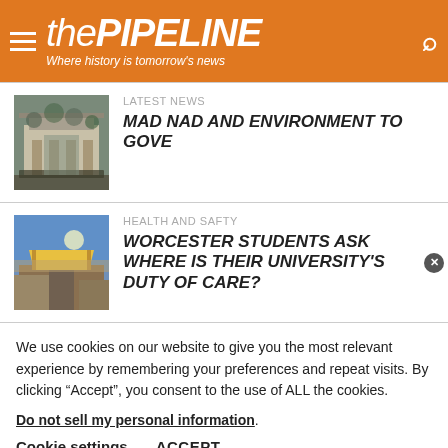thePIPELINE — Where history is tomorrow's news
[Figure (photo): Thumbnail photo of a building with columns and iron gate, grey stone architecture]
LATEST NEWS
MAD NAD AND ENVIRONMENT TO GOVE
[Figure (photo): Thumbnail photo of a construction site with yellow canopy/structure and blue sky]
HEALTH AND SAFTY
WORCESTER STUDENTS ASK WHERE IS THEIR UNIVERSITY'S DUTY OF CARE?
We use cookies on our website to give you the most relevant experience by remembering your preferences and repeat visits. By clicking “Accept”, you consent to the use of ALL the cookies.
Do not sell my personal information.
Cookie settings   ACCEPT